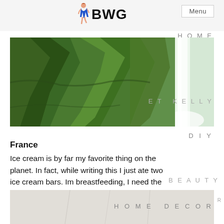BWG — Menu
[Figure (photo): Wide landscape photo of a lush green mossy canyon with a tall waterfall on the right side]
HOME
ET KELLY
DIY
France
Ice cream is by far my favorite thing on the planet. In fact, while writing this I just ate two ice cream bars. Im breastfeeding, I need the calories. Don't judge me. In Paris we thought we stopped in on a little ice cream shop, but it was oh so much more. In 35 seconds she sculpted me up this beauty. Layers upon layers of flavors.
BEAUTY
FEATURED CHAPTER
[Figure (photo): Partial view of a light-colored decorative or outdoor scene]
HOME DECOR